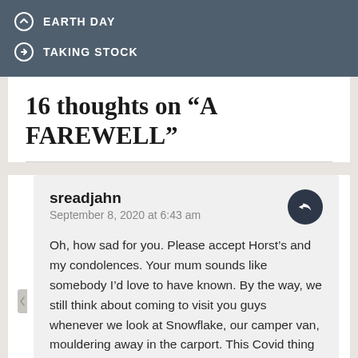EARTH DAY
TAKING STOCK
16 thoughts on “A FAREWELL”
sreadjahn
September 8, 2020 at 6:43 am

Oh, how sad for you. Please accept Horst’s and my condolences. Your mum sounds like somebody I’d love to have known. By the way, we still think about coming to visit you guys whenever we look at Snowflake, our camper van, mouldering away in the carport. This Covid thing halted our plans, of course, and we both have health issues, but, maybe we’ll manage to make the trip one of these finer days.